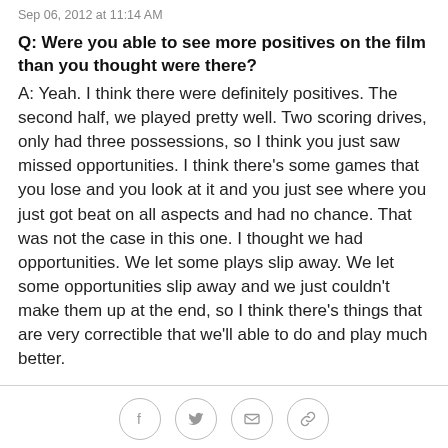Sep 06, 2012 at 11:14 AM
Q: Were you able to see more positives on the film than you thought were there?
A: Yeah. I think there were definitely positives. The second half, we played pretty well. Two scoring drives, only had three possessions, so I think you just saw missed opportunities. I think there's some games that you lose and you look at it and you just see where you just got beat on all aspects and had no chance. That was not the case in this one. I thought we had opportunities. We let some plays slip away. We let some opportunities slip away and we just couldn't make them up at the end, so I think there's things that are very correctible that we'll able to do and play much better.
[Figure (other): Social sharing icons: Facebook, Twitter, Email, Link]